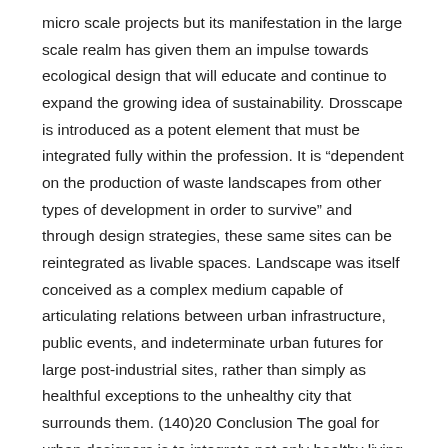micro scale projects but its manifestation in the large scale realm has given them an impulse towards ecological design that will educate and continue to expand the growing idea of sustainability. Drosscape is introduced as a potent element that must be integrated fully within the profession. It is “dependent on the production of waste landscapes from other types of development in order to survive” and through design strategies, these same sites can be reintegrated as livable spaces. Landscape was itself conceived as a complex medium capable of articulating relations between urban infrastructure, public events, and indeterminate urban futures for large post-industrial sites, rather than simply as healthful exceptions to the unhealthy city that surrounds them. (140)20 Conclusion The goal for urban designers is to integrate not only healthy living conditions but also to provide contextual connections to the surroundings in both a past present and future setting. Setting the framework for how urban living is articulated, landscape urbanism is a flexible design medium with numerous benefits to society. The application of landscape urbanism goes